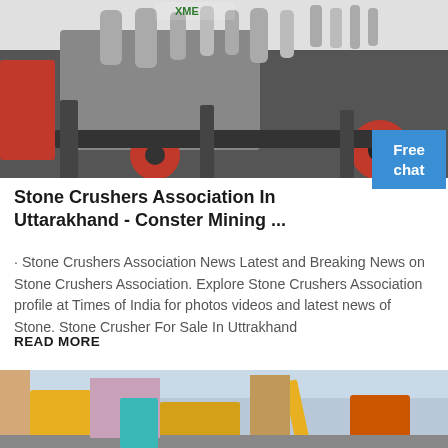[Figure (photo): Industrial stone crusher machine with red wheel, grey and black components, with XME logo partially visible at top]
Stone Crushers Association In Uttarakhand - Conster Mining ...
· Stone Crushers Association News Latest and Breaking News on Stone Crushers Association. Explore Stone Crushers Association profile at Times of India for photos videos and latest news of Stone. Stone Crusher For Sale In Uttrakhand
READ MORE
[Figure (photo): Industrial mining equipment including yellow machinery and cranes at a facility]